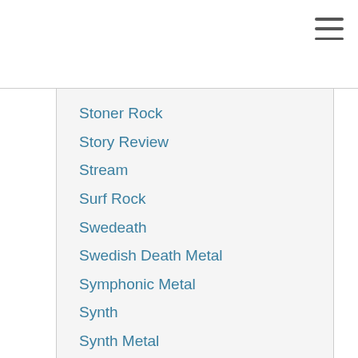Stoner Rock
Story Review
Stream
Surf Rock
Swedeath
Swedish Death Metal
Symphonic Metal
Synth
Synth Metal
Synthpop
Synthwave
Talesofdeception
Techdeath
Tech Death
Technical Death Metal
Texas